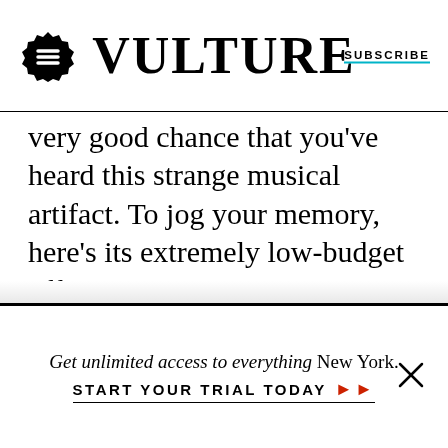Vulture — SUBSCRIBE
very good chance that you've heard this strange musical artifact. To jog your memory, here's its extremely low-budget official music video:
Get unlimited access to everything New York. START YOUR TRIAL TODAY ▶▶